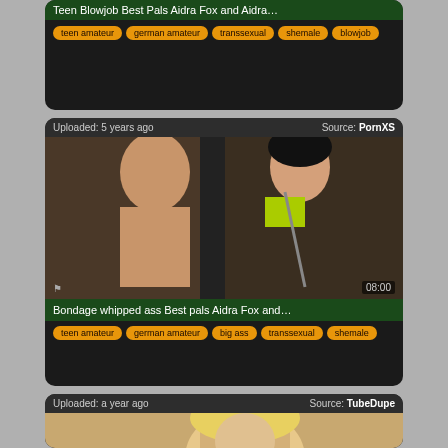[Figure (screenshot): Video thumbnail card 1 - top portion cut off, shows tags: teen amateur, german amateur, transsexual, shemale, blowjob]
teen amateur
german amateur
transsexual
shemale
blowjob
Uploaded: 5 years ago    Source: PornXS
[Figure (screenshot): Video thumbnail showing two women in a car, duration 08:00, title: Bondage whipped ass Best pals Aidra Fox and...]
Bondage whipped ass Best pals Aidra Fox and...
teen amateur
german amateur
big ass
transsexual
shemale
Uploaded: a year ago    Source: TubeDupe
[Figure (screenshot): Video thumbnail card 3 - bottom portion, shows blonde woman]